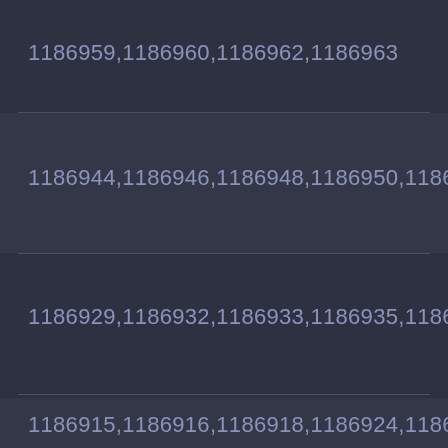1186959,1186960,1186962,1186963
1186944,1186946,1186948,1186950,1186952,1186...
1186929,1186932,1186933,1186935,1186936,1186...
1186915,1186916,1186918,1186924,1186925,1186...